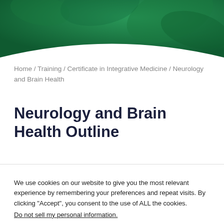[Figure (photo): Dark green banner header with leaf/plant background texture and a white curved cutout at the bottom]
Home / Training / Certificate in Integrative Medicine / Neurology and Brain Health
Neurology and Brain Health Outline
We use cookies on our website to give you the most relevant experience by remembering your preferences and repeat visits. By clicking “Accept”, you consent to the use of ALL the cookies.
Do not sell my personal information.
Cookie settings  ACCEPT